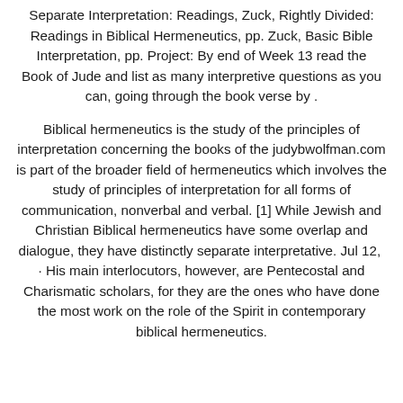Separate Interpretation: Readings, Zuck, Rightly Divided: Readings in Biblical Hermeneutics, pp. Zuck, Basic Bible Interpretation, pp. Project: By end of Week 13 read the Book of Jude and list as many interpretive questions as you can, going through the book verse by .
Biblical hermeneutics is the study of the principles of interpretation concerning the books of the judybwolfman.com is part of the broader field of hermeneutics which involves the study of principles of interpretation for all forms of communication, nonverbal and verbal. [1] While Jewish and Christian Biblical hermeneutics have some overlap and dialogue, they have distinctly separate interpretative. Jul 12,  · His main interlocutors, however, are Pentecostal and Charismatic scholars, for they are the ones who have done the most work on the role of the Spirit in contemporary biblical hermeneutics.